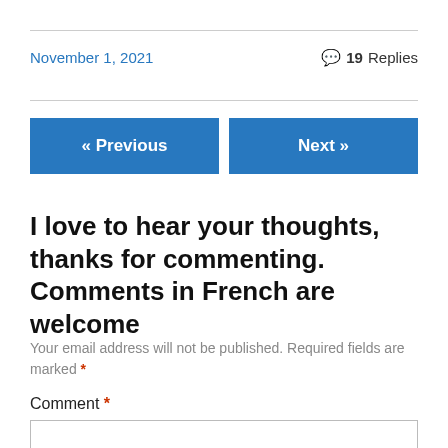November 1, 2021
💬 19 Replies
« Previous
Next »
I love to hear your thoughts, thanks for commenting. Comments in French are welcome
Your email address will not be published. Required fields are marked *
Comment *